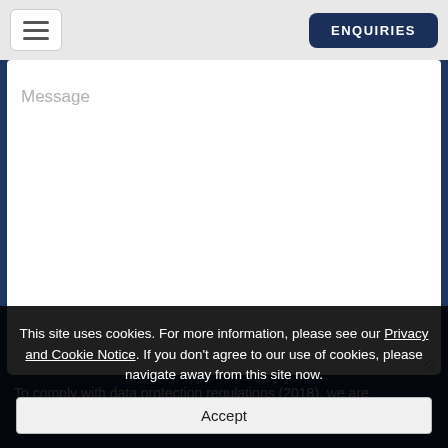ENQUIRIES
[Figure (screenshot): Message textarea input field with placeholder text 'Message' on a dark navy blue background]
To comply with data protection regulations (2018), we are
This site uses cookies. For more information, please see our Privacy and Cookie Notice. If you don't agree to our use of cookies, please navigate away from this site now.
Accept